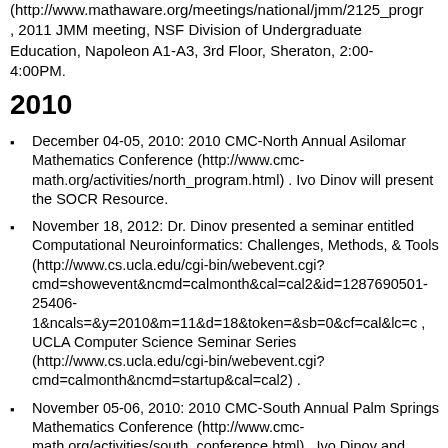(http://www.mathaware.org/meetings/national/jmm/2125_progr, 2011 JMM meeting, NSF Division of Undergraduate Education, Napoleon A1-A3, 3rd Floor, Sheraton, 2:00-4:00PM.
2010
December 04-05, 2010: 2010 CMC-North Annual Asilomar Mathematics Conference (http://www.cmc-math.org/activities/north_program.html) . Ivo Dinov will present the SOCR Resource.
November 18, 2012: Dr. Dinov presented a seminar entitled Computational Neuroinformatics: Challenges, Methods, & Tools (http://www.cs.ucla.edu/cgi-bin/webevent.cgi?cmd=showevent&ncmd=calmonth&cal=cal2&id=1287690501-25406-1&ncals=&y=2010&m=11&d=18&token=&sb=0&cf=cal&lc=0, UCLA Computer Science Seminar Series (http://www.cs.ucla.edu/cgi-bin/webevent.cgi?cmd=calmonth&ncmd=startup&cal=cal2) .
November 05-06, 2010: 2010 CMC-South Annual Palm Springs Mathematics Conference (http://www.cmc-math.org/activities/south_conference.html) . Ivo Dinov and Nicolas Christou will present the SOCR Resource.